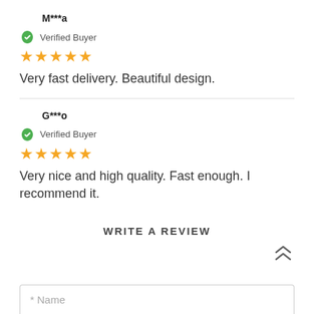M***a
Verified Buyer
★★★★★
Very fast delivery. Beautiful design.
G***o
Verified Buyer
★★★★★
Very nice and high quality. Fast enough. I recommend it.
WRITE A REVIEW
* Name